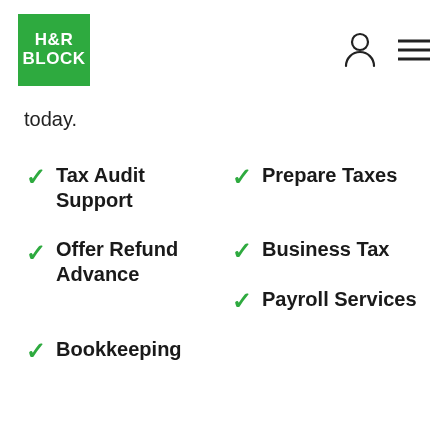H&R BLOCK
today.
Tax Audit Support
Prepare Taxes
Offer Refund Advance
Business Tax
Payroll Services
Bookkeeping